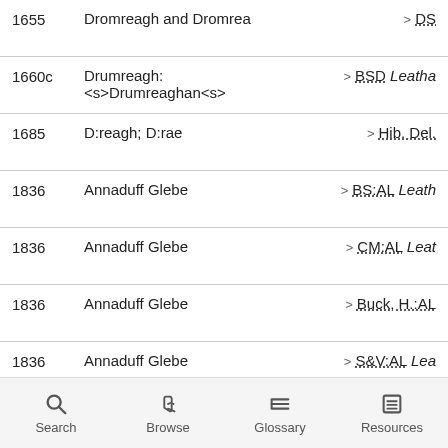1655  Dromreagh and Dromrea  > DS
1660c  Drumreagh: <s>Drumreaghan<s>  > BSD Leatha
1685  D:reagh; D:rae  > Hib. Del.
1836  Annaduff Glebe  > BS:AL Leath
1836  Annaduff Glebe  > CM:AL Leat
1836  Annaduff Glebe  > Buck, H.:AL
1836  Annaduff Glebe  > S&V:AL Lea
1836  Annaduff Glebe  > Map 1793 (I Leathanach
1836  Anath-Duff, 'Duffey's fort'  > Quinn, E.:AL C001,1,41
Search  Browse  Glossary  Resources